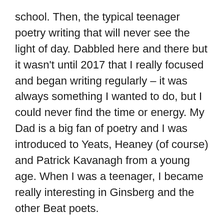school. Then, the typical teenager poetry writing that will never see the light of day. Dabbled here and there but it wasn't until 2017 that I really focused and began writing regularly – it was always something I wanted to do, but I could never find the time or energy. My Dad is a big fan of poetry and I was introduced to Yeats, Heaney (of course) and Patrick Kavanagh from a young age. When I was a teenager, I became really interesting in Ginsberg and the other Beat poets.
Q2: Who are your biggest influences today?